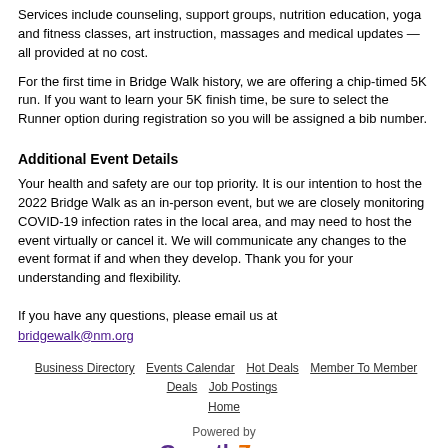Services include counseling, support groups, nutrition education, yoga and fitness classes, art instruction, massages and medical updates — all provided at no cost.
For the first time in Bridge Walk history, we are offering a chip-timed 5K run. If you want to learn your 5K finish time, be sure to select the Runner option during registration so you will be assigned a bib number.
Additional Event Details
Your health and safety are our top priority. It is our intention to host the 2022 Bridge Walk as an in-person event, but we are closely monitoring COVID-19 infection rates in the local area, and may need to host the event virtually or cancel it. We will communicate any changes to the event format if and when they develop. Thank you for your understanding and flexibility.
If you have any questions, please email us at bridgewalk@nm.org
Business Directory   Events Calendar   Hot Deals   Member To Member Deals   Job Postings   Home
[Figure (logo): Powered by GrowthZone logo]